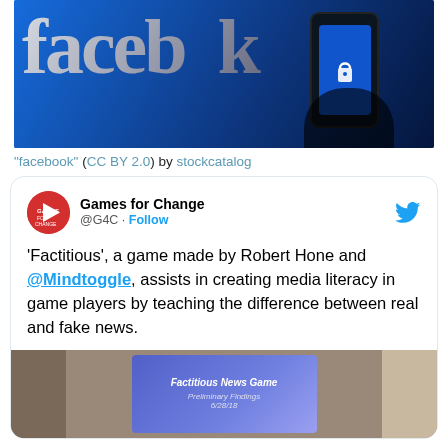[Figure (photo): Facebook logo on blue background with a hand holding a smartphone showing a lock screen icon]
"facebook" (CC BY 2.0) by stockcatalog
[Figure (screenshot): Tweet from Games for Change (@G4C) with Twitter Follow button. Tweet text: 'Factitious', a game made by Robert Hone and @Mindtoggle, assists in creating media literacy in game players by teaching the difference between real and fake news. Below is a photo of a presentation slide showing 'Factitious News Game - Preliminary Findings 6/28/18'.]